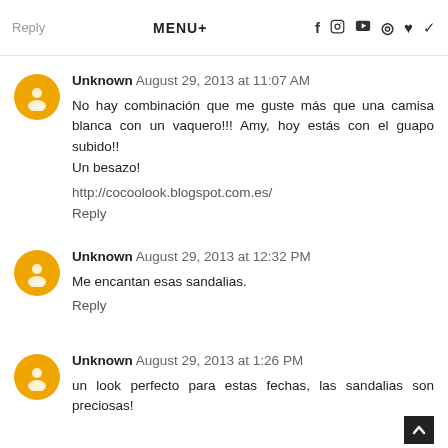Reply | MENU+ | [social icons]
Unknown August 29, 2013 at 11:07 AM
No hay combinación que me guste más que una camisa blanca con un vaquero!!! Amy, hoy estás con el guapo subido!!
Un besazo!

http://cocoolook.blogspot.com.es/
Reply
Unknown August 29, 2013 at 12:32 PM
Me encantan esas sandalias.
Reply
Unknown August 29, 2013 at 1:26 PM
un look perfecto para estas fechas, las sandalias son preciosas!